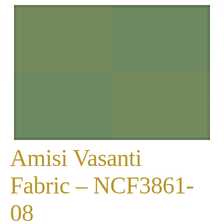[Figure (photo): Close-up photograph of a woven fabric textile showing a tweed/basketweave pattern with mixed teal, blue, and golden/tan yarns creating a dense textured surface.]
Amisi Vasanti Fabric – NCF3861-08